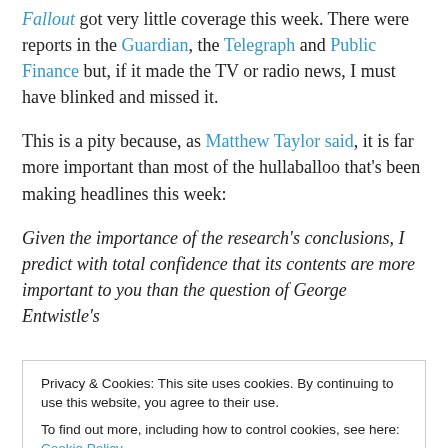Fallout got very little coverage this week. There were reports in the Guardian, the Telegraph and Public Finance but, if it made the TV or radio news, I must have blinked and missed it.
This is a pity because, as Matthew Taylor said, it is far more important than most of the hullaballoo that's been making headlines this week:
Given the importance of the research's conclusions, I predict with total confidence that its contents are more important to you than the question of George Entwistle's
Privacy & Cookies: This site uses cookies. By continuing to use this website, you agree to their use. To find out more, including how to control cookies, see here: Cookie Policy
government will have to cut a further £48bn from public